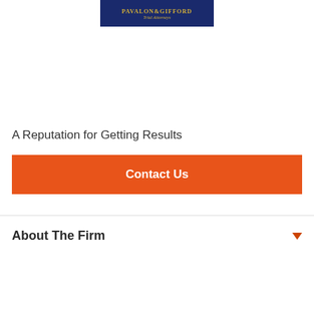[Figure (logo): Pavalon & Gifford Trial Attorneys logo — dark navy blue background with gold text]
A Reputation for Getting Results
Contact Us
About The Firm